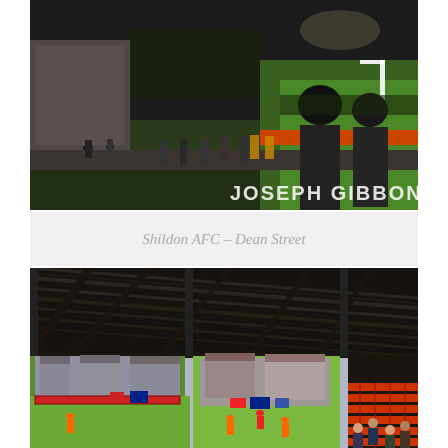[Figure (photo): Night-time photograph of Shildon AFC Dean Street ground showing spectators milling around outside the pitch under floodlights, with 'JOSEPH GIBBONS' watermark in bottom right corner.]
Shildon AFC – Dean Street
[Figure (photo): Daytime photograph taken from inside a covered stand at Shildon AFC Dean Street, showing the corrugated roof structure overhead, the green pitch with players, and terraced houses visible beyond the far side of the ground.]